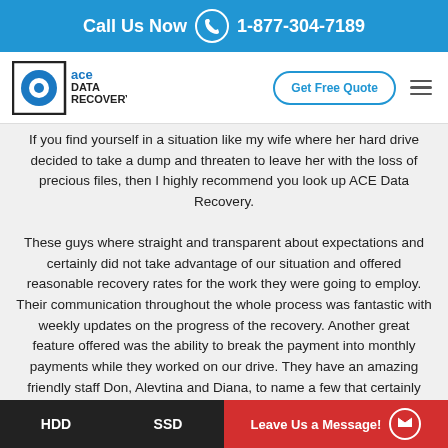Call Us Now 1-877-304-7189
[Figure (logo): ACE Data Recovery logo with navigation bar including Get Free Quote button and hamburger menu]
If you find yourself in a situation like my wife where her hard drive decided to take a dump and threaten to leave her with the loss of precious files, then I highly recommend you look up ACE Data Recovery. These guys where straight and transparent about expectations and certainly did not take advantage of our situation and offered reasonable recovery rates for the work they were going to employ. Their communication throughout the whole process was fantastic with weekly updates on the progress of the recovery. Another great feature offered was the ability to break the payment into monthly payments while they worked on our drive. They have an amazing friendly staff Don, Alevtina and Diana, to name a few that certainly makes the difference and are deserving of a 5 star Rating
HDD   SSD   Leave Us a Message!